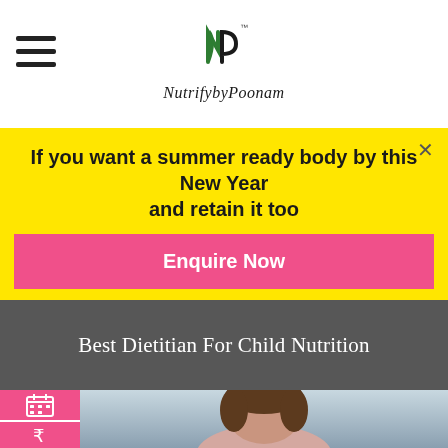NutrifybyPoonam
If you want a summer ready body by this New Year and retain it too
Enquire Now
Best Dietitian For Child Nutrition
[Figure (photo): Photo of a young girl with brown hair looking unhappy at a table with vegetables in front of her, indoors]